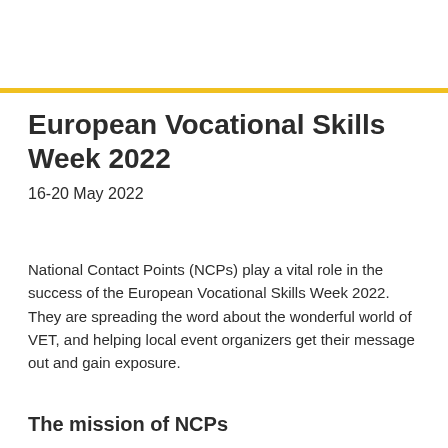European Vocational Skills Week 2022
16-20 May 2022
National Contact Points (NCPs) play a vital role in the success of the European Vocational Skills Week 2022.  They are spreading the word about the wonderful world of VET, and helping local event organizers get their message out and gain exposure.
The mission of NCPs